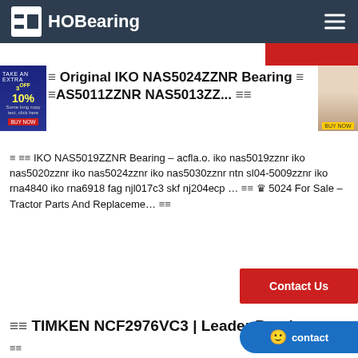HOBearing
≡ Original IKO NAS5024ZZNR Bearing ≡ NAS5011ZZNR NAS5013ZZ... ≡≡
≡ ≡≡ IKO NAS5019ZZNR Bearing - acfla.o. iko nas5019zznr iko nas5020zznr iko nas5024zznr iko nas5030zznr ntn sl04-5009zznr iko rna4840 iko rna6918 fag njl017c3 skf nj204ecp ... ≡≡ ♛ 5024 For Sale - Tractor Parts And Replaceme... ≡≡
≡≡ TIMKEN NCF2976VC3 | Leader Beari...
≡≡≡ Bearings›Roller Bearings›Cylindrical Roller Bearings›NCF2976VC3Bearing, Cylindrical 520MM OD 82 Wid RBEC 1 | ISO P0Leader Sin authorized dealers in interchange all bearing types, including over OETO bearing...